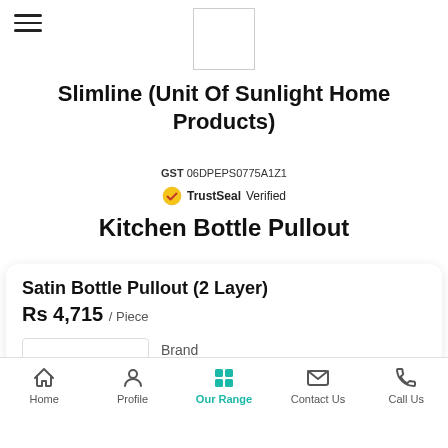[Figure (logo): White square logo box for Slimline (Unit Of Sunlight Home Products)]
Slimline (Unit Of Sunlight Home Products)
GST 06DPEPS0775A1Z1
TrustSeal Verified
Kitchen Bottle Pullout
Satin Bottle Pullout (2 Layer)
Rs 4,715 / Piece
Brand
SLIMLINE
Home  Profile  Our Range  Contact Us  Call Us